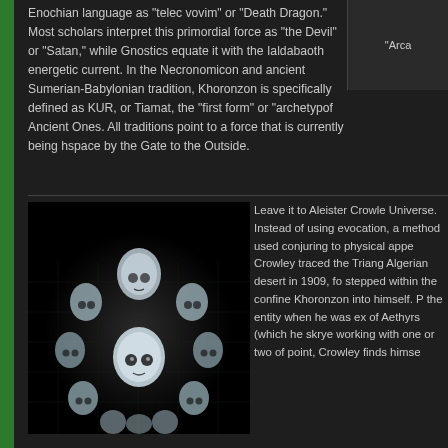Enochian language as “telec vovim” or “Death Dragon.” Most scholars interpret this primordial force as “the Devil” or “Satan,” while Gnostics equate it with the Ialdabaoth energetic current. In the Necronomicon and ancient Sumerian-Babylonian tradition, Khoronzon is specifically defined as KUR, or Tiamat, the “first form” or “archetype” Ancient Ones. All traditions point to a force that is currently being held in space by the Gate to the Outside.
[Figure (photo): Crystal skulls arranged in a circular pattern on a dark reflective surface, photographed against a black background]
Leave it to Aleister Crowle Universe. Instead of using evocation, a method used conjuring to physical appe Crowley traced the Triang Algerian desert in 1909, fo stepped within the confine Khoronzon into himself. P the entity when he was ex of Aethyrs (which he skrye working with one or two of point, Crowley finds himse
“Arca